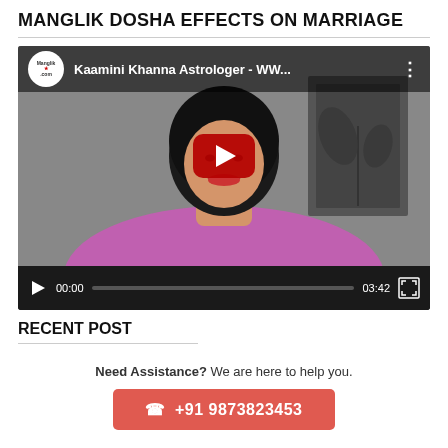MANGLIK DOSHA EFFECTS ON MARRIAGE
[Figure (screenshot): Embedded YouTube video player showing Kaamini Khanna Astrologer video thumbnail with a woman in purple, YouTube top bar with channel logo and title 'Kaamini Khanna Astrologer - WW...', red play button overlay, and video controls bar showing 00:00 / 03:42]
RECENT POST
Need Assistance? We are here to help you.
☎ +91 9873823453